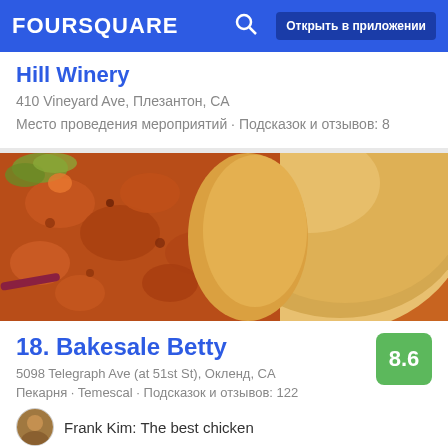FOURSQUARE  Открыть в приложении
Hill Winery
410 Vineyard Ave, Плезантон, CA
Место проведения мероприятий · Подсказок и отзывов: 8
[Figure (photo): Close-up photo of fried chicken sandwich with a bun on the right and crispy fried chicken on the left, with green garnish visible in the background]
18. Bakesale Betty
5098 Telegraph Ave (at 51st St), Окленд, CA
Пекарня · Temescal · Подсказок и отзывов: 122
Frank Kim: The best chicken